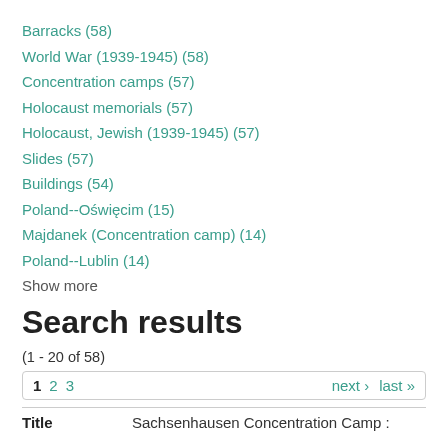Barracks (58)
World War (1939-1945) (58)
Concentration camps (57)
Holocaust memorials (57)
Holocaust, Jewish (1939-1945) (57)
Slides (57)
Buildings (54)
Poland--Oświęcim (15)
Majdanek (Concentration camp) (14)
Poland--Lublin (14)
Show more
Search results
(1 - 20 of 58)
1  2  3   next ›  last »
| Title |  |
| --- | --- |
| Title | Sachsenhausen Concentration Camp : |